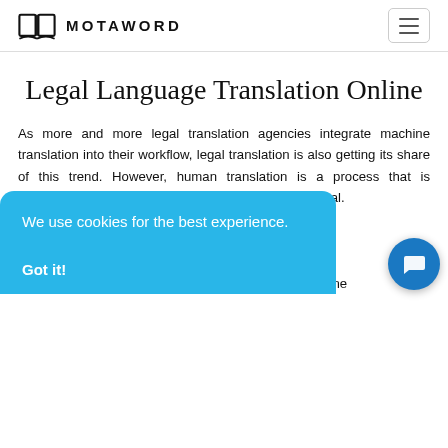MOTAWORD
Legal Language Translation Online
As more and more legal translation agencies integrate machine translation into their workflow, legal translation is also getting its share of this trend. However, human translation is a process that is supported by MotaWord vices legal. ealized by a r quality nd se reading process to ensure quality legal translation online
We use cookies for the best experience.
Got it!